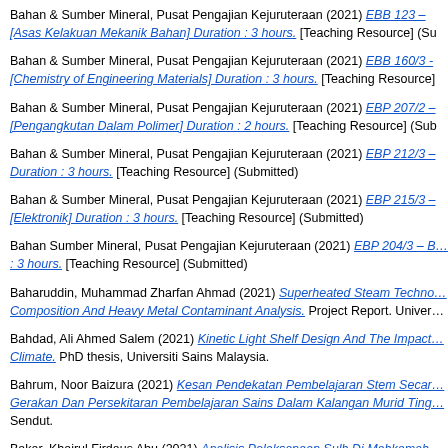Bahan & Sumber Mineral, Pusat Pengajian Kejuruteraan (2021) EBB 123 – [Asas Kelakuan Mekanik Bahan] Duration : 3 hours. [Teaching Resource] (Su…
Bahan & Sumber Mineral, Pusat Pengajian Kejuruteraan (2021) EBB 160/3 - [Chemistry of Engineering Materials] Duration : 3 hours. [Teaching Resource]
Bahan & Sumber Mineral, Pusat Pengajian Kejuruteraan (2021) EBP 207/2 – [Pengangkutan Dalam Polimer] Duration : 2 hours. [Teaching Resource] (Sub…
Bahan & Sumber Mineral, Pusat Pengajian Kejuruteraan (2021) EBP 212/3 – Duration : 3 hours. [Teaching Resource] (Submitted)
Bahan & Sumber Mineral, Pusat Pengajian Kejuruteraan (2021) EBP 215/3 – [Elektronik] Duration : 3 hours. [Teaching Resource] (Submitted)
Bahan Sumber Mineral, Pusat Pengajian Kejuruteraan (2021) EBP 204/3 – B… : 3 hours. [Teaching Resource] (Submitted)
Baharuddin, Muhammad Zharfan Ahmad (2021) Superheated Steam Techno… Composition And Heavy Metal Contaminant Analysis. Project Report. Univer…
Bahdad, Ali Ahmed Salem (2021) Kinetic Light Shelf Design And The Impact… Climate. PhD thesis, Universiti Sains Malaysia.
Bahrum, Noor Baizura (2021) Kesan Pendekatan Pembelajaran Stem Secar… Gerakan Dan Persekitaran Pembelajaran Sains Dalam Kalangan Murid Ting… Sendut.
Bakar, Khairul Firdaus Abu (2021) Analisis Pelaksanaan Sulh Di Mahkamah… Perpustakaan Hamzah Sendut.